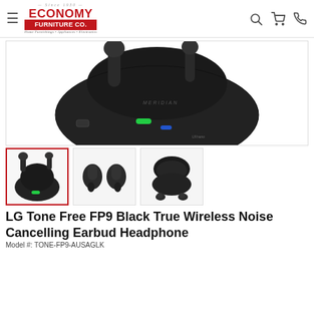Economy Furniture Co. — Since 1930 — Home Furnishings • Appliances • Electronics
[Figure (photo): Close-up product photo of LG Tone Free FP9 Black True Wireless Earbud Headphone charging case open, showing earbuds and glowing green LED indicator, top-down angle. Brand text 'MERIDIAN' and 'UVnano' visible on case.]
[Figure (photo): Thumbnail 1: LG Tone Free FP9 charging case open with earbuds, black, front view showing green LED.]
[Figure (photo): Thumbnail 2: Two LG Tone Free FP9 earbuds side by side, out of case, black.]
[Figure (photo): Thumbnail 3: LG Tone Free FP9 charging case open with earbuds placed below it, black.]
LG Tone Free FP9 Black True Wireless Noise Cancelling Earbud Headphone
Model #: TONE-FP9-AUSAGLK